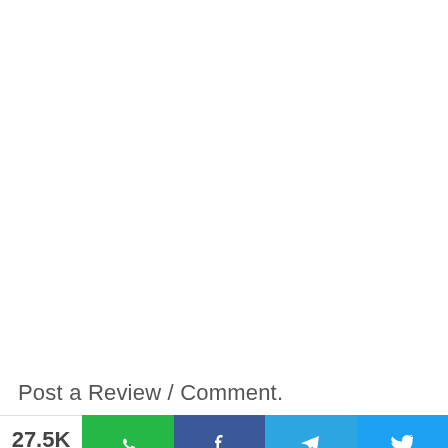Post a Review / Comment.
27.5K SHARES | WhatsApp | Facebook | Telegram | Twitter